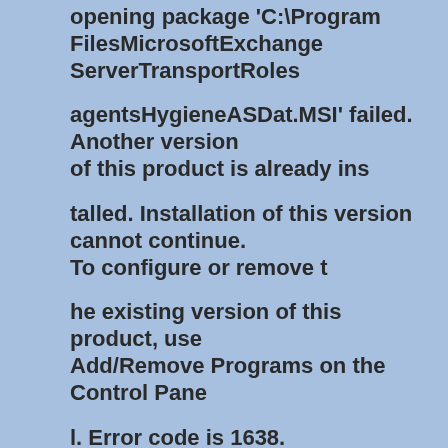opening package 'C:\Program FilesMicrosoftExchange ServerTransportRoles agentsHygieneASDat.MSI' failed. Another version of this product is already ins talled. Installation of this version cannot continue. To configure or remove t he existing version of this product, use Add/Remove Programs on the Control Pane l. Error code is 1638.
The Exchange Server Setup operation did not complete. For more information, visit http://support.microsoft.com and enter the